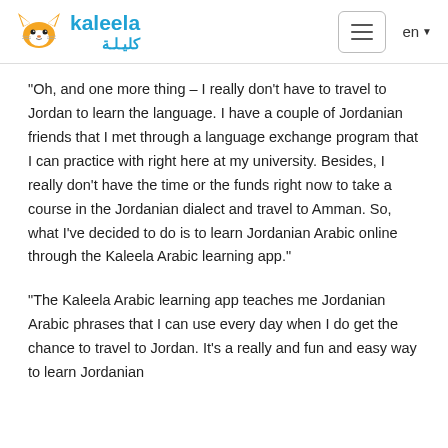kaleela / كليلة — en
"Oh, and one more thing – I really don't have to travel to Jordan to learn the language. I have a couple of Jordanian friends that I met through a language exchange program that I can practice with right here at my university. Besides, I really don't have the time or the funds right now to take a course in the Jordanian dialect and travel to Amman. So, what I've decided to do is to learn Jordanian Arabic online through the Kaleela Arabic learning app."
"The Kaleela Arabic learning app teaches me Jordanian Arabic phrases that I can use every day when I do get the chance to travel to Jordan. It's a really and fun and easy way to learn Jordanian